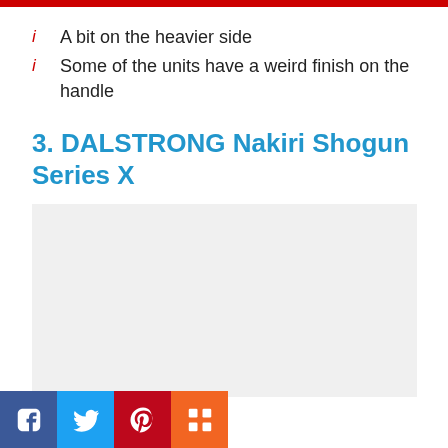A bit on the heavier side
Some of the units have a weird finish on the handle
3. DALSTRONG Nakiri Shogun Series X
[Figure (photo): Product image placeholder for DALSTRONG Nakiri Shogun Series X knife]
[Figure (other): Social share buttons: Facebook, Twitter, Pinterest, Mix]